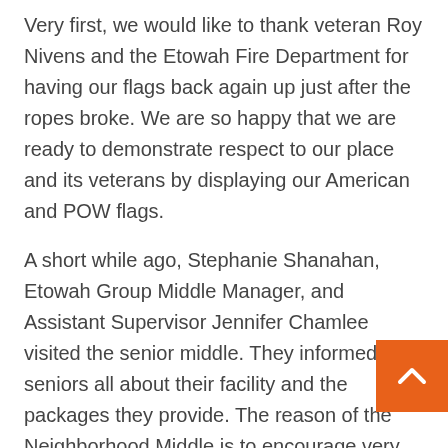Very first, we would like to thank veteran Roy Nivens and the Etowah Fire Department for having our flags back again up just after the ropes broke. We are so happy that we are ready to demonstrate respect to our place and its veterans by displaying our American and POW flags.
A short while ago, Stephanie Shanahan, Etowah Group Middle Manager, and Assistant Supervisor Jennifer Chamlee visited the senior middle. They informed our seniors all about their facility and the packages they provide. The reason of the Neighborhood Middle is to encourage very good health and fitness and to deliver people closer as a result of exercise, athletics, fun and shared interests.
A single system at the Etowah Community Middle is